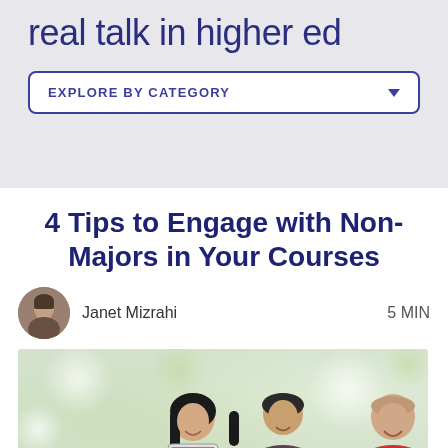real talk in higher ed
EXPLORE BY CATEGORY
4 Tips to Engage with Non-Majors in Your Courses
Janet Mizrahi   5 MIN
[Figure (photo): Three people (a woman with long dark hair, a young man, and a bald older man) smiling and looking at a tablet device together, with a blurred green/light background.]